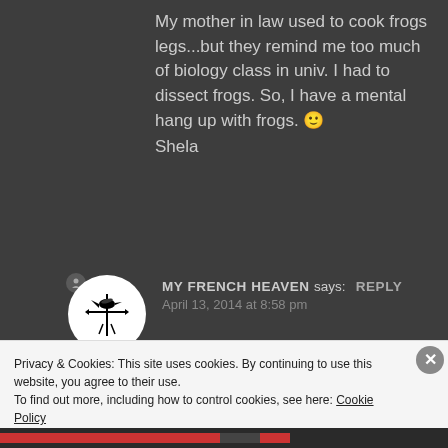My mother in law used to cook frogs legs...but they remind me too much of biology class in univ. I had to dissect frogs. So, I have a mental hang up with frogs. 🙂
Shela
[Figure (illustration): Round avatar icon with a black bird/weather vane illustration on white background, with a small grey badge in top-left]
MY FRENCH HEAVEN says: Reply
April 13, 2014 at 8:58 pm
Privacy & Cookies: This site uses cookies. By continuing to use this website, you agree to their use.
To find out more, including how to control cookies, see here: Cookie Policy
Close and accept